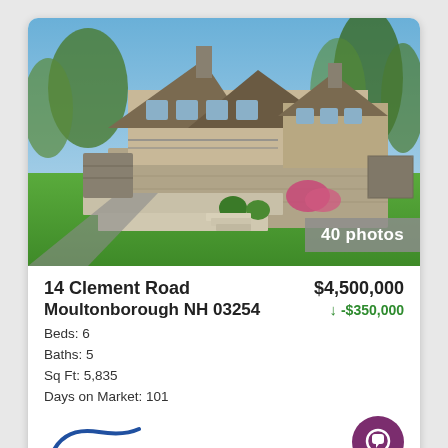[Figure (photo): Aerial/elevated photo of a large stone and shingle luxury home with multiple gables, stone retaining walls, landscaped grounds with green lawn and flowering shrubs, surrounded by trees under blue sky.]
40 photos
14 Clement Road
$4,500,000
Moultonborough NH 03254
↓ -$350,000
Beds: 6
Baths: 5
Sq Ft: 5,835
Days on Market: 101
[Figure (logo): NEREN MLS logo — blue swoosh with NEREN text and MLS below]